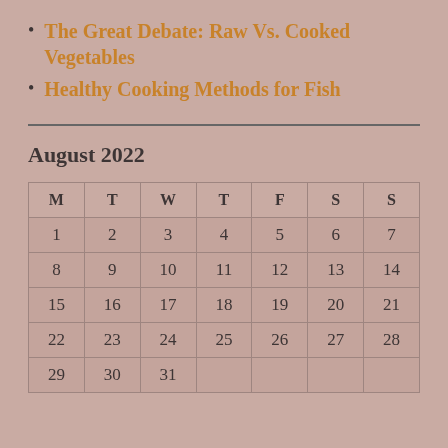The Great Debate: Raw Vs. Cooked Vegetables
Healthy Cooking Methods for Fish
August 2022
| M | T | W | T | F | S | S |
| --- | --- | --- | --- | --- | --- | --- |
| 1 | 2 | 3 | 4 | 5 | 6 | 7 |
| 8 | 9 | 10 | 11 | 12 | 13 | 14 |
| 15 | 16 | 17 | 18 | 19 | 20 | 21 |
| 22 | 23 | 24 | 25 | 26 | 27 | 28 |
| 29 | 30 | 31 |  |  |  |  |